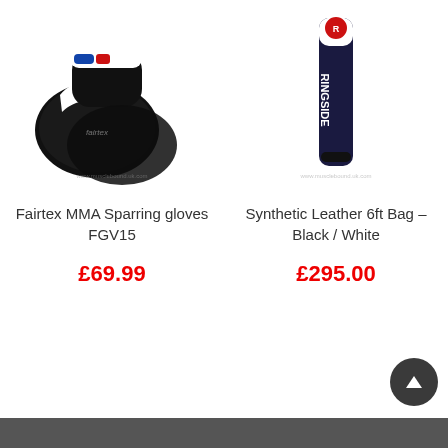[Figure (photo): Black Fairtex MMA sparring gloves FGV15, pair shown from top/side angle with fairtex branding visible, watermark www.musclebound.uk.com]
Fairtex MMA Sparring gloves FGV15
£69.99
[Figure (photo): Ringside branded synthetic leather 6ft punch bag in black and white color, tall cylindrical bag with Ringside logo, watermark www.musclebound.uk.com]
Synthetic Leather 6ft Bag – Black / White
£295.00